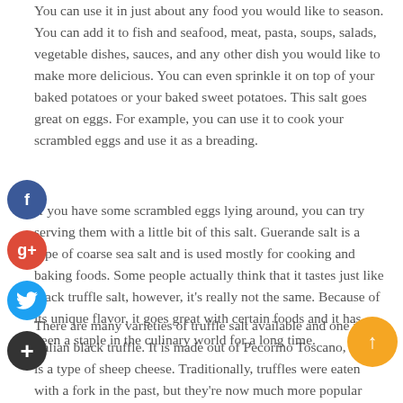You can use it in just about any food you would like to season. You can add it to fish and seafood, meat, pasta, soups, salads, vegetable dishes, sauces, and any other dish you would like to make more delicious. You can even sprinkle it on top of your baked potatoes or your baked sweet potatoes. This salt goes great on eggs. For example, you can use it to cook your scrambled eggs and use it as a breading.
If you have some scrambled eggs lying around, you can try serving them with a little bit of this salt. Guerande salt is a type of coarse sea salt and is used mostly for cooking and baking foods. Some people actually think that it tastes just like black truffle salt, however, it's really not the same. Because of its unique flavor, it goes great with certain foods and it has been a staple in the culinary world for a long time.
There are many varieties of truffle salt available and one is the Italian black truffle. It is made out of Pecorino Toscano, which is a type of sheep cheese. Traditionally, truffles were eaten with a fork in the past, but they're now much more popular with a knife and some wine. The pecorino Toscano cheese is a semi-hard cheese that can be found anywhere from Italy to Switzerland.